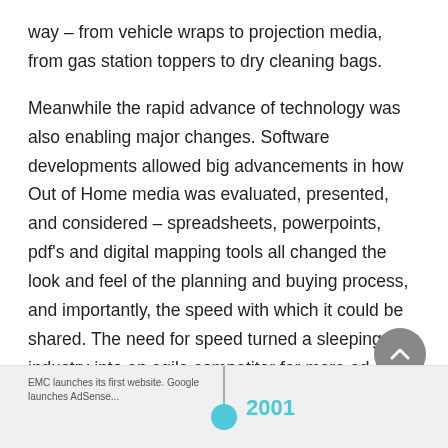way – from vehicle wraps to projection media, from gas station toppers to dry cleaning bags.
Meanwhile the rapid advance of technology was also enabling major changes. Software developments allowed big advancements in how Out of Home media was evaluated, presented, and considered – spreadsheets, powerpoints, pdf's and digital mapping tools all changed the look and feel of the planning and buying process, and importantly, the speed with which it could be shared. The need for speed turned a sleeping industry into an agile competitor for more ad spend with an integrated marketing strategy, tapping into creative canvases and delivery where we live, work and play.
[Figure (infographic): Timeline strip at bottom of page showing year 2001 with a teal dot on a vertical line, and text to the left reading 'EMC launches its first website. Google launches AdSense...']